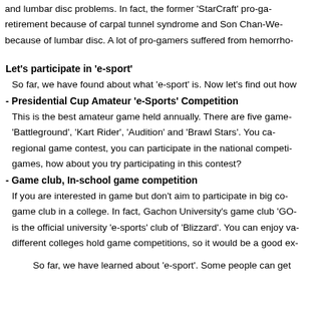and lumbar disc problems. In fact, the former 'StarCraft' pro-ga- retirement because of carpal tunnel syndrome and Son Chan-We- because of lumbar disc. A lot of pro-gamers suffered from hemorrho-
Let's participate in 'e-sport'
So far, we have found about what 'e-sport' is. Now let's find out how
- Presidential Cup Amateur 'e-Sports' Competition
This is the best amateur game held annually. There are five game- 'Battleground', 'Kart Rider', 'Audition' and 'Brawl Stars'. You ca- regional game contest, you can participate in the national competi- games, how about you try participating in this contest?
- Game club, In-school game competition
If you are interested in game but don't aim to participate in big co- game club in a college. In fact, Gachon University's game club 'GO- is the official university 'e-sports' club of 'Blizzard'. You can enjoy va- different colleges hold game competitions, so it would be a good ex-
So far, we have learned about 'e-sport'. Some people can get